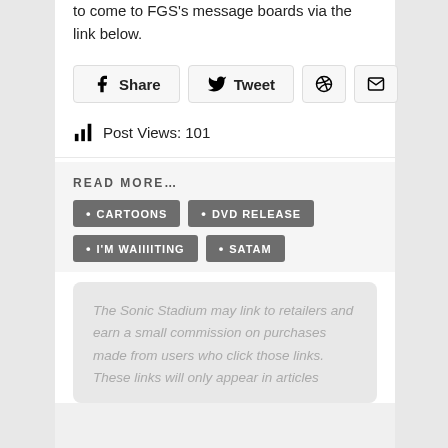to come to FGS's message boards via the link below.
Share  Tweet  [Pinterest]  [Email]
Post Views: 101
READ MORE...
CARTOONS
DVD RELEASE
I'M WAIIIITING
SATAM
The Sonic Stadium may link to retailers and earn a small commission on purchases made from users who click those links. These links will only appear in articles